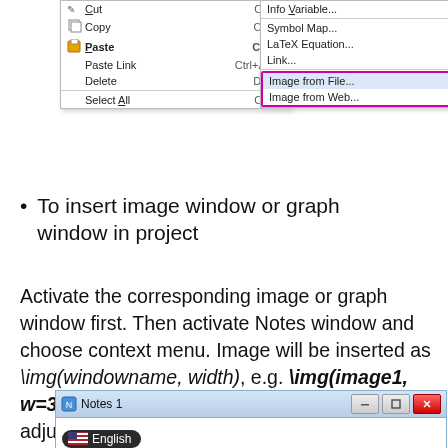[Figure (screenshot): Context menu screenshot showing options: Cut (Ctrl+X), Copy (Ctrl+C), Paste (Ctrl+V), Paste Link (Ctrl+Alt+V), Delete, Select All (Ctrl+A) on left panel; Info Variable..., Symbol Map..., LaTeX Equation..., Link..., Image from File..., Image from Web... on right panel. 'Image from File...' and 'Image from Web...' are highlighted with a pink/magenta border box.]
To insert image window or graph window in project
Activate the corresponding image or graph window first. Then activate Notes window and choose context menu. Image will be inserted as \img(windowname, width), e.g. \img(image1, w=300). Use w= or h= at the end of the link to adjust width or height of the inserted image/graph.
[Figure (screenshot): Notes 1 window titlebar with English language selector showing US flag and 'English' text on dark rounded button.]